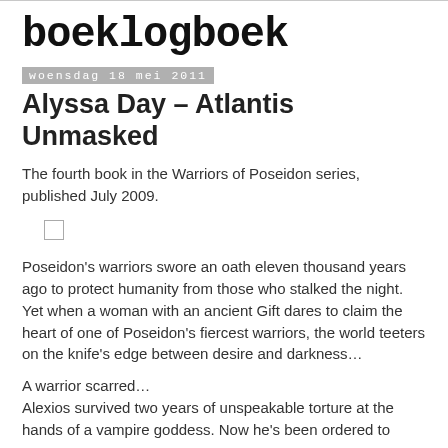boeklogboek
woensdag 18 mei 2011
Alyssa Day – Atlantis Unmasked
The fourth book in the Warriors of Poseidon series, published July 2009.
Poseidon's warriors swore an oath eleven thousand years ago to protect humanity from those who stalked the night. Yet when a woman with an ancient Gift dares to claim the heart of one of Poseidon's fiercest warriors, the world teeters on the knife's edge between desire and darkness…
A warrior scarred…
Alexios survived two years of unspeakable torture at the hands of a vampire goddess. Now he's been ordered to